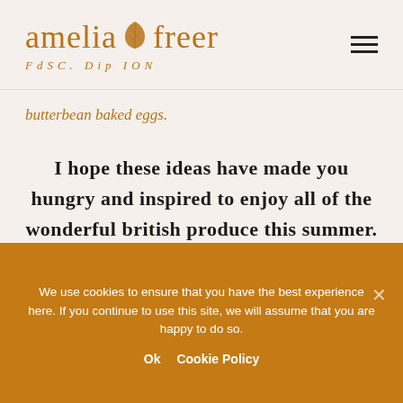amelia freer FdSC. Dip ION
butterbean baked eggs.
I hope these ideas have made you hungry and inspired to enjoy all of the wonderful british produce this summer.
We use cookies to ensure that you have the best experience here. If you continue to use this site, we will assume that you are happy to do so.
Ok   Cookie Policy